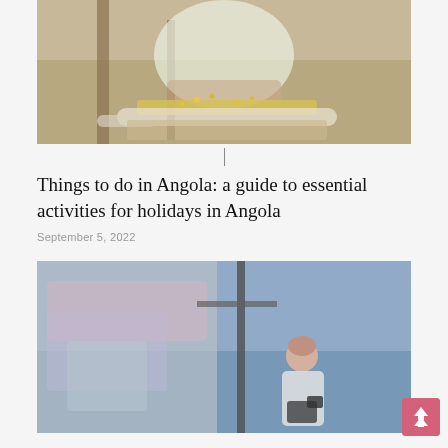[Figure (photo): A person sitting outdoors, working with corn/grain and woven materials, wearing light-colored clothing, set against a mud/clay background with wooden poles.]
Things to do in Angola: a guide to essential activities for holidays in Angola
September 5, 2022
[Figure (photo): A person with a camera or equipment working on a large colorful mural on a wall, photographed from below against a blue sky background.]